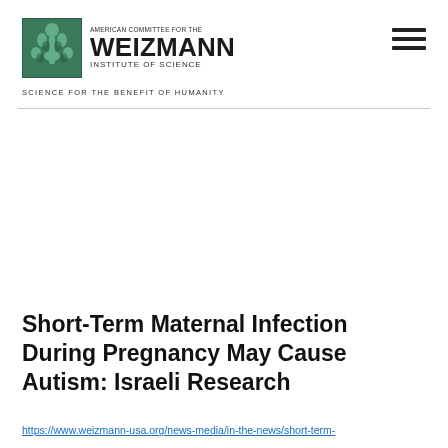[Figure (logo): American Committee for the Weizmann Institute of Science logo — green illustrated emblem on the left, text 'AMERICAN COMMITTEE FOR THE WEIZMANN INSTITUTE OF SCIENCE' on the right]
SCIENCE FOR THE BENEFIT OF HUMANITY
Short-Term Maternal Infection During Pregnancy May Cause Autism: Israeli Research
https://www.weizmann-usa.org/news-media/in-the-news/short-term-